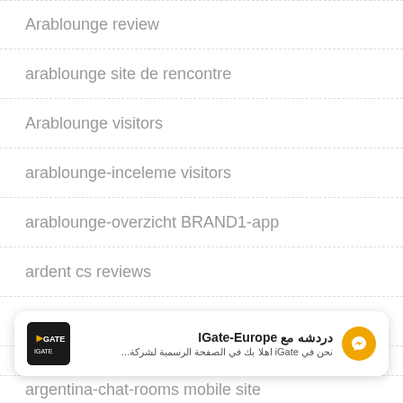Arablounge review
arablounge site de rencontre
Arablounge visitors
arablounge-inceleme visitors
arablounge-overzicht BRAND1-app
ardent cs reviews
Ardent review
Ardent visitors
[Figure (screenshot): IGate-Europe chat widget with Arabic text: دردشه مع IGate-Europe, نحن في iGate اهلا بك في الصفحة الرسمية لشركة...]
argentina-chat-rooms mobile site